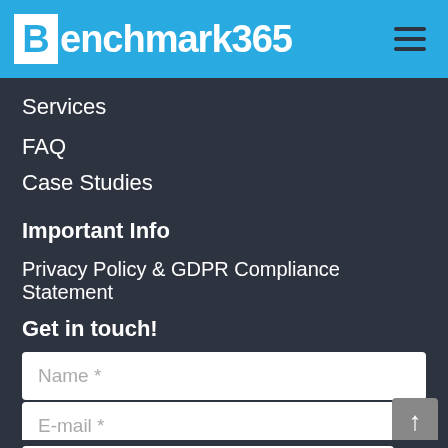[Figure (logo): Benchmark365 logo with white B in box on cyan/blue background header bar with hamburger menu icon]
Services
FAQ
Case Studies
Important Info
Privacy Policy & GDPR Compliance Statement
Get in touch!
Name *
E-mail *
Country